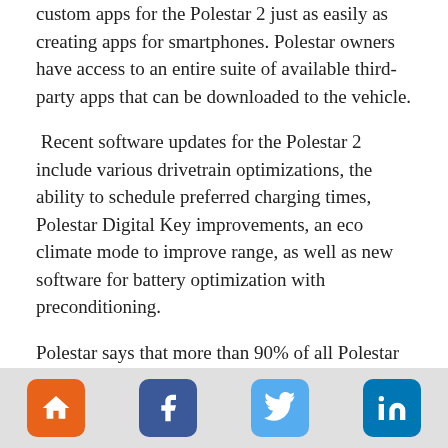custom apps for the Polestar 2 just as easily as creating apps for smartphones. Polestar owners have access to an entire suite of available third-party apps that can be downloaded to the vehicle.
Recent software updates for the Polestar 2 include various drivetrain optimizations, the ability to schedule preferred charging times, Polestar Digital Key improvements, an eco climate mode to improve range, as well as new software for battery optimization with preconditioning.
Polestar says that more than 90% of all Polestar 2 owners have installed these updates.
"Software technology in our cars should not be much different from how the latest software is pushed out on
[Figure (other): Footer navigation bar with four icon buttons: home (orange), Facebook (dark blue), Twitter (light blue), LinkedIn (blue)]